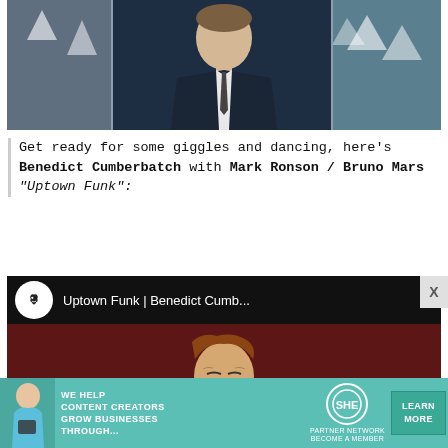[Figure (photo): Photo of Benedict Cumberbatch in a dark suit with snowy trees in background, appearing to be a composite/mirrored image]
Get ready for some giggles and dancing, here's Benedict Cumberbatch with Mark Ronson / Bruno Mars "Uptown Funk":
[Figure (screenshot): YouTube embed showing 'Uptown Funk | Benedict Cumb...' with a thumbnail of a person singing with eyes closed against a dark red background]
[Figure (photo): Advertisement banner: 'WE HELP CONTENT CREATORS GROW BUSINESSES THROUGH...' with SHE Media Partner Network logo and 'LEARN MORE' button]